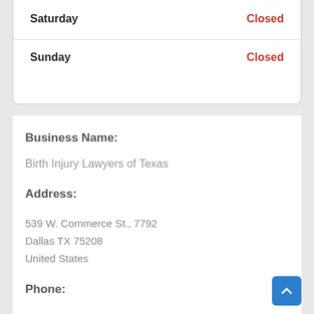| Day | Status |
| --- | --- |
| Saturday | Closed |
| Sunday | Closed |
Business Name:
Birth Injury Lawyers of Texas
Address:
539 W. Commerce St., 7792
Dallas TX 75208
United States
Phone: